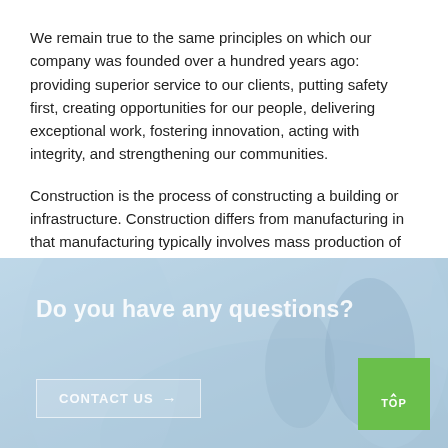We remain true to the same principles on which our company was founded over a hundred years ago: providing superior service to our clients, putting safety first, creating opportunities for our people, delivering exceptional work, fostering innovation, acting with integrity, and strengthening our communities.
Construction is the process of constructing a building or infrastructure. Construction differs from manufacturing in that manufacturing typically involves mass production of similar items without a designated purchaser.
[Figure (photo): Banner section with a blurred/faded background photo of people (construction workers or professionals), overlaid with text 'Do you have any questions?' and a 'CONTACT US →' button, plus a green 'TOP' button in the bottom-right corner.]